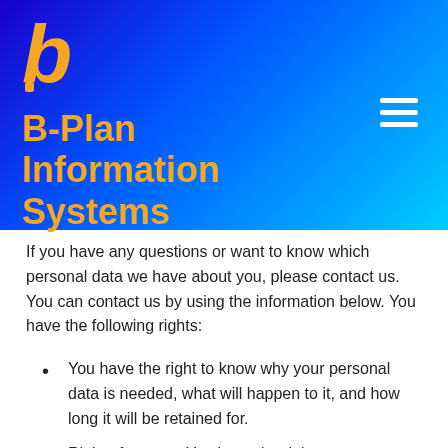[Figure (logo): B-Plan Information Systems logo: orange stylized 'b' lettermark on blue gradient background header]
B-Plan Information Systems
If you have any questions or want to know which personal data we have about you, please contact us. You can contact us by using the information below. You have the following rights:
You have the right to know why your personal data is needed, what will happen to it, and how long it will be retained for.
Right of access: You have the right to access your personal data that is known to